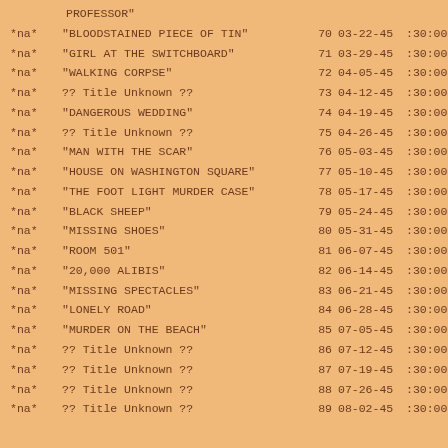| NA | Title | # | Date | Time |
| --- | --- | --- | --- | --- |
| *na* | "BLOODSTAINED PIECE OF TIN" | 70 | 03-22-45 | :30:00 |
| *na* | "GIRL AT THE SWITCHBOARD" | 71 | 03-29-45 | :30:00 |
| *na* | "WALKING CORPSE" | 72 | 04-05-45 | :30:00 |
| *na* | ?? Title Unknown ?? | 73 | 04-12-45 | :30:00 |
| *na* | "DANGEROUS WEDDING" | 74 | 04-19-45 | :30:00 |
| *na* | ?? Title Unknown ?? | 75 | 04-26-45 | :30:00 |
| *na* | "MAN WITH THE SCAR" | 76 | 05-03-45 | :30:00 |
| *na* | "HOUSE ON WASHINGTON SQUARE" | 77 | 05-10-45 | :30:00 |
| *na* | "THE FOOT LIGHT MURDER CASE" | 78 | 05-17-45 | :30:00 |
| *na* | "BLACK SHEEP" | 79 | 05-24-45 | :30:00 |
| *na* | "MISSING SHOES" | 80 | 05-31-45 | :30:00 |
| *na* | "ROOM 501" | 81 | 06-07-45 | :30:00 |
| *na* | "20,000 ALIBIS" | 82 | 06-14-45 | :30:00 |
| *na* | "MISSING SPECTACLES" | 83 | 06-21-45 | :30:00 |
| *na* | "LONELY ROAD" | 84 | 06-28-45 | :30:00 |
| *na* | "MURDER ON THE BEACH" | 85 | 07-05-45 | :30:00 |
| *na* | ?? Title Unknown ?? | 86 | 07-12-45 | :30:00 |
| *na* | ?? Title Unknown ?? | 87 | 07-19-45 | :30:00 |
| *na* | ?? Title Unknown ?? | 88 | 07-26-45 | :30:00 |
| *na* | ?? Title Unknown ?? | 89 | 08-02-45 | :30:00 |